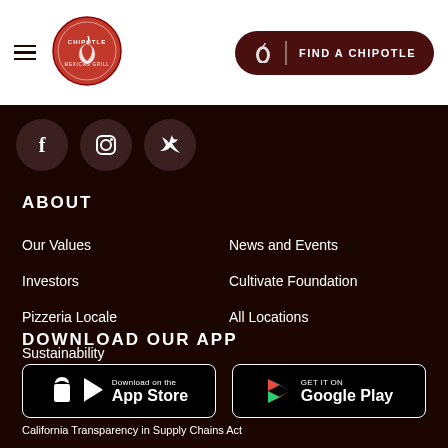[Figure (logo): Chipotle Mexican Grill logo - circular red logo with pepper icon]
FIND A CHIPOTLE
[Figure (illustration): Social media icons row: Facebook, Instagram, Twitter on dark background]
ABOUT
Our Values
News and Events
Investors
Cultivate Foundation
Pizzeria Locale
All Locations
Sustainability
DOWNLOAD OUR APP
[Figure (screenshot): Download on the App Store badge]
[Figure (screenshot): Get it on Google Play badge]
California Transparency in Supply Chains Act